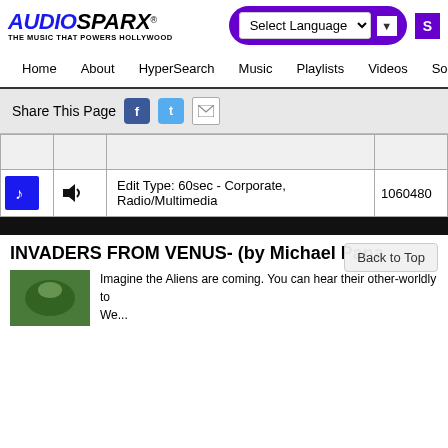AUDIOSPARX - THE MUSIC THAT POWERS HOLLYWOOD
Select Language
Home  About  HyperSearch  Music  Playlists  Videos  Sound
Share This Page
|  |  | Edit Type | ID |
| --- | --- | --- | --- |
| [music icon] | [speaker icon] | Edit Type: 60sec - Corporate, Radio/Multimedia | 1060480 |
INVADERS FROM VENUS- (by Michael Pana
Imagine the Aliens are coming. You can hear their other-worldly to
We...